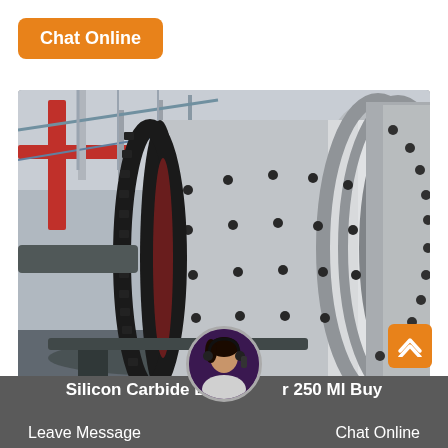Chat Online
[Figure (photo): Large industrial ball mill with cylindrical steel drum, visible bolts and gear ring, set inside a factory/industrial facility with red structural beams in background.]
Silicon Carbide Ball M... r 250 Ml Buy
Leave Message
Chat Online